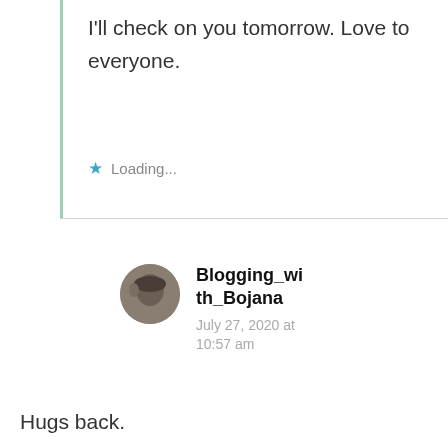I'll check on you tomorrow. Love to everyone.
Loading...
Blogging_with_Bojana
July 27, 2020 at 10:57 am
Hugs back.
Loading...